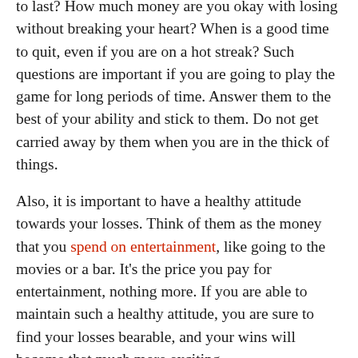to last? How much money are you okay with losing without breaking your heart? When is a good time to quit, even if you are on a hot streak? Such questions are important if you are going to play the game for long periods of time. Answer them to the best of your ability and stick to them. Do not get carried away by them when you are in the thick of things.
Also, it is important to have a healthy attitude towards your losses. Think of them as the money that you spend on entertainment, like going to the movies or a bar. It's the price you pay for entertainment, nothing more. If you are able to maintain such a healthy attitude, you are sure to find your losses bearable, and your wins will become that much more exciting.